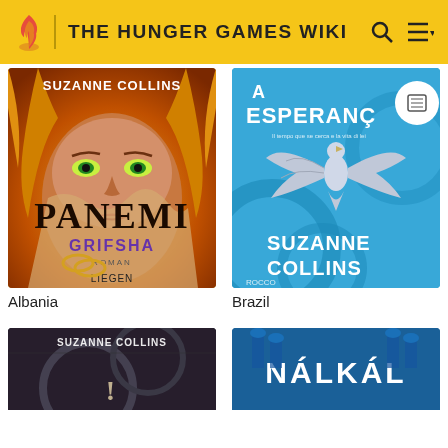THE HUNGER GAMES WIKI
[Figure (photo): Book cover: Panemi Grifsha by Suzanne Collins (Albanian edition). Features a girl's face with green eyes, orange flames, with text SUZANNE COLLINS, PANEMI, GRIFSHA, ROMAN, LIEGEN.]
Albania
[Figure (photo): Book cover: A Esperança by Suzanne Collins (Brazilian edition). Blue cover with a mockingjay bird in flight, text A ESPERANÇA, SUZANNE COLLINS.]
Brazil
[Figure (photo): Book cover partial view (bottom row left): Suzanne Collins book cover with dark mechanical/gear imagery.]
[Figure (photo): Book cover partial view (bottom row right): Blue cover with stylized text NÁLKÁL or similar.]